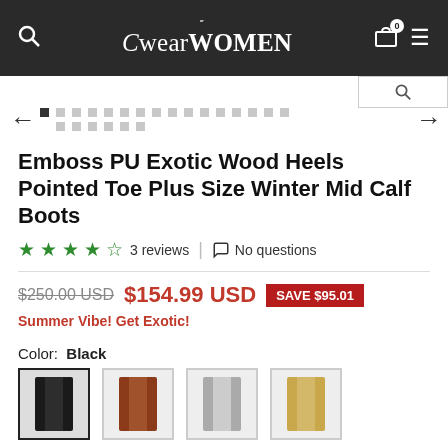CwearWOMEN
Emboss PU Exotic Wood Heels Pointed Toe Plus Size Winter Mid Calf Boots
3 reviews | No questions
$250.00 USD $154.99 USD SAVE $95.01
Summer Vibe! Get Exotic!
Color: Black